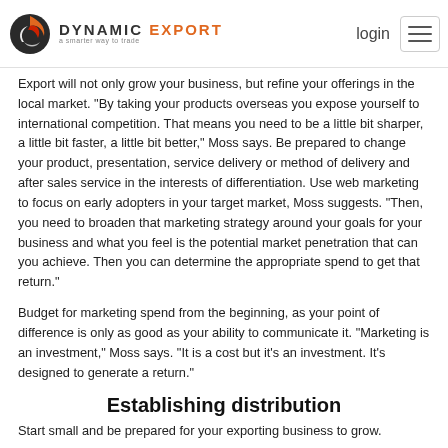DYNAMIC EXPORT — login
Export will not only grow your business, but refine your offerings in the local market. "By taking your products overseas you expose yourself to international competition. That means you need to be a little bit sharper, a little bit faster, a little bit better," Moss says. Be prepared to change your product, presentation, service delivery or method of delivery and after sales service in the interests of differentiation. Use web marketing to focus on early adopters in your target market, Moss suggests. "Then, you need to broaden that marketing strategy around your goals for your business and what you feel is the potential market penetration that can you achieve. Then you can determine the appropriate spend to get that return."
Budget for marketing spend from the beginning, as your point of difference is only as good as your ability to communicate it. "Marketing is an investment," Moss says. "It is a cost but it's an investment. It's designed to generate a return."
Establishing distribution
Start small and be prepared for your exporting business to grow.